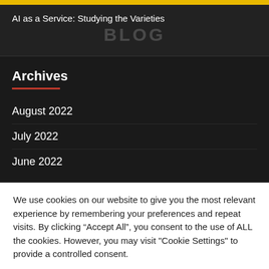AI as a Service: Studying the Varieties
Archives
August 2022
July 2022
June 2022
We use cookies on our website to give you the most relevant experience by remembering your preferences and repeat visits. By clicking “Accept All”, you consent to the use of ALL the cookies. However, you may visit "Cookie Settings" to provide a controlled consent.
Cookie Settings | Accept All